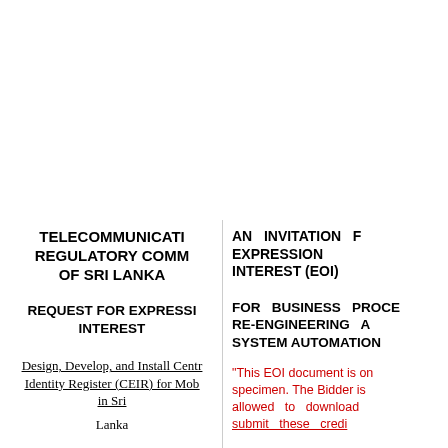TELECOMMUNICATIONS REGULATORY COMMISSION OF SRI LANKA
REQUEST FOR EXPRESSION OF INTEREST
Design, Develop, and Install Central Equipment Identity Register (CEIR) for Mobile Devices in Sri Lanka
AN INVITATION FOR EXPRESSION OF INTEREST (EOI)
FOR BUSINESS PROCESS RE-ENGINEERING AND SYSTEM AUTOMATION
“This EOI document is only a specimen. The Bidder is not allowed to download and submit these credentials…